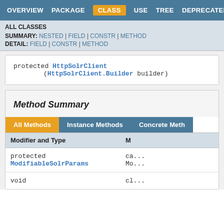OVERVIEW  PACKAGE  CLASS  USE  TREE  DEPRECATED  HELP
ALL CLASSES
SUMMARY: NESTED | FIELD | CONSTR | METHOD
DETAIL: FIELD | CONSTR | METHOD
protected HttpSolrClient (HttpSolrClient.Builder builder)
Method Summary
All Methods  Instance Methods  Concrete Meth...
| Modifier and Type | M... |
| --- | --- |
| protected ModifiableSolrParams | ca...
Mo... |
| void | cl... |